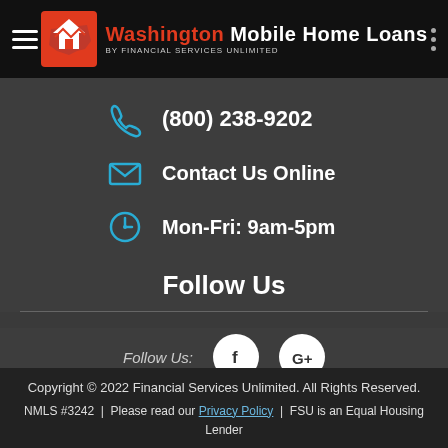Washington Mobile Home Loans BY FINANCIAL SERVICES UNLIMITED
(800) 238-9202
Contact Us Online
Mon-Fri: 9am-5pm
Follow Us
Follow Us:
Copyright © 2022 Financial Services Unlimited. All Rights Reserved. NMLS #3242 | Please read our Privacy Policy | FSU is an Equal Housing Lender